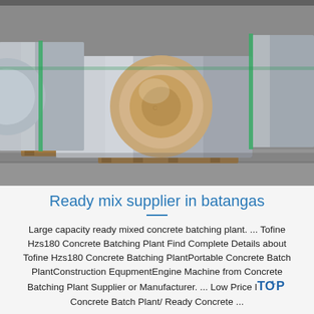[Figure (photo): Large rolls of shiny metallic (aluminum or steel) sheet coils stacked on wooden pallets on a concrete floor, with green strapping bands visible.]
Ready mix supplier in batangas
Large capacity ready mixed concrete batching plant. ... Tofine Hzs180 Concrete Batching Plant Find Complete Details about Tofine Hzs180 Concrete Batching PlantPortable Concrete Batch PlantConstruction EqupmentEngine Machine from Concrete Batching Plant Supplier or Manufacturer. ... Low Price IT Concrete Batch Plant/ Ready Concrete ...